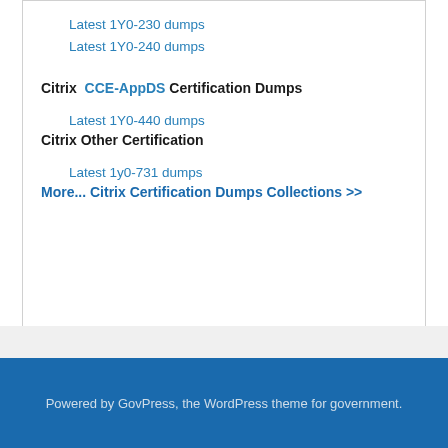Latest 1Y0-230 dumps
Latest 1Y0-240 dumps
Citrix CCE-AppDS Certification Dumps
Latest 1Y0-440 dumps
Citrix Other Certification
Latest 1y0-731 dumps
More... Citrix Certification Dumps Collections >>
Powered by GovPress, the WordPress theme for government.